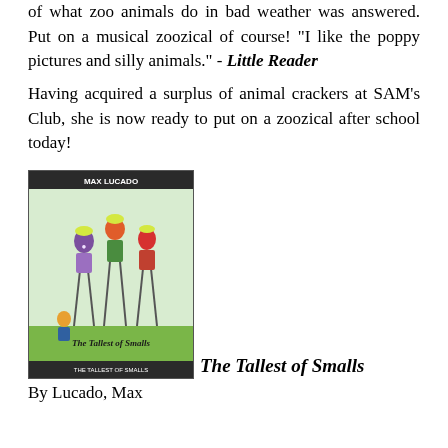of what zoo animals do in bad weather was answered. Put on a musical zoozical of course! "I like the poppy pictures and silly animals." - Little Reader
Having acquired a surplus of animal crackers at SAM’s Club, she is now ready to put on a zoozical after school today!
[Figure (photo): Book cover of The Tallest of Smalls by Max Lucado, showing illustrated children on stilts in a field]
The Tallest of Smalls
By Lucado, Max
There’s a village where some walk on stilts and look down on those they consider not cool.  But what is better than being big in the crowd’s